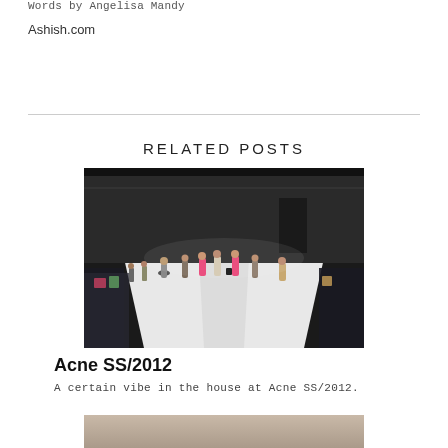Words by Angelisa Mandy
Ashish.com
RELATED POSTS
[Figure (photo): Fashion runway show photo showing multiple models walking on a white runway in a large venue, taken from an elevated angle. Models are wearing colorful outfits including pink and neutral tones. The setting is a large industrial-style space with dark surroundings.]
Acne SS/2012
A certain vibe in the house at Acne SS/2012.
[Figure (photo): Partial view of a second related post photo, cropped at bottom of page.]